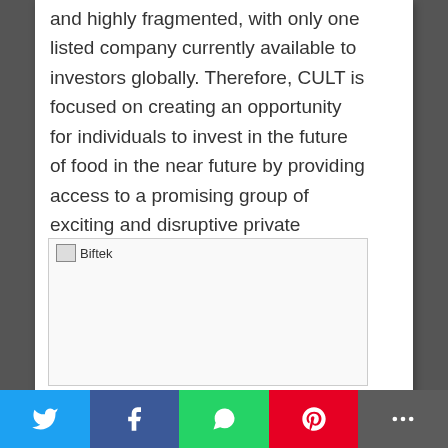and highly fragmented, with only one listed company currently available to investors globally. Therefore, CULT is focused on creating an opportunity for individuals to invest in the future of food in the near future by providing access to a promising group of exciting and disruptive private companies in these sectors.
[Figure (photo): Biftek image placeholder - broken image labeled 'Biftek']